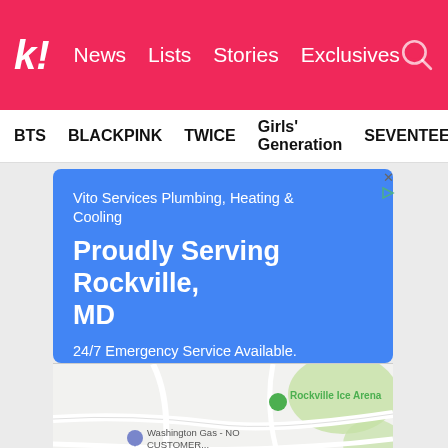koreaboo - News | Lists | Stories | Exclusives
BTS   BLACKPINK   TWICE   Girls' Generation   SEVENTEEN
[Figure (screenshot): Advertisement for Vito Services Plumbing, Heating & Cooling on a blue background. Text reads: 'Vito Services Plumbing, Heating & Cooling', 'Proudly Serving Rockville, MD', '24/7 Emergency Service Available. Financing Available.']
[Figure (map): Google Maps screenshot showing Rockville, MD area with markers for 'Rockville Ice Arena' and 'Washington Gas - NO CUSTOMER...' on a road map with green parks.]